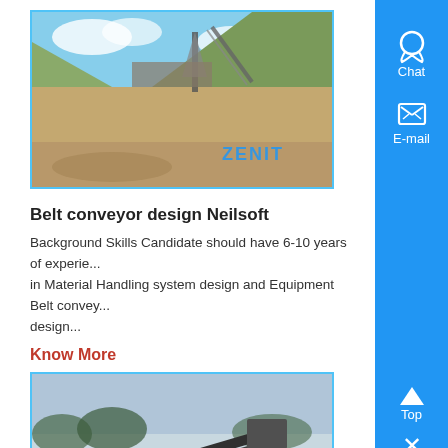[Figure (photo): Zenit mining/quarry site with conveyor and crusher equipment, outdoor industrial setting, blue sky with clouds, ZENIT watermark logo in blue]
Belt conveyor design Neilsoft
Background Skills Candidate should have 6-10 years of experience in Material Handling system design and Equipment Belt conveyor design...
Know More
[Figure (photo): Zenit belt conveyor system at an industrial site, showing large conveyor structure and equipment, ZENIT watermark logo in blue]
Chat
E-mail
Top